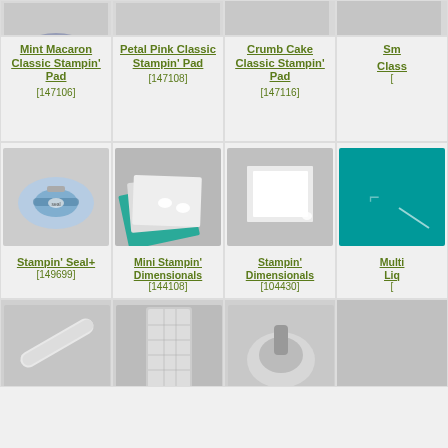[Figure (photo): Mint Macaron Classic Stampin' Pad product photo (partially visible at top)]
Mint Macaron Classic Stampin' Pad [147106]
[Figure (photo): Petal Pink Classic Stampin' Pad product photo (partially visible at top)]
Petal Pink Classic Stampin' Pad [147108]
[Figure (photo): Crumb Cake Classic Stampin' Pad product photo (partially visible at top)]
Crumb Cake Classic Stampin' Pad [147116]
[Figure (photo): Smoky Slate Classic Stampin' Pad product photo (partially visible at top, clipped)]
[Figure (photo): Stampin' Seal+ adhesive runner product photo]
Stampin' Seal+ [149699]
[Figure (photo): Mini Stampin' Dimensionals product photo]
Mini Stampin' Dimensionals [144108]
[Figure (photo): Stampin' Dimensionals product photo]
Stampin' Dimensionals [104430]
[Figure (photo): Multi-purpose Liquid Glue product photo (partially visible, clipped)]
[Figure (photo): Sanding file product photo (partially visible at bottom)]
[Figure (photo): Paper trimmer product photo (partially visible at bottom)]
[Figure (photo): Embossing tool product photo (partially visible at bottom)]
[Figure (photo): Fourth product bottom row (partially visible, clipped)]